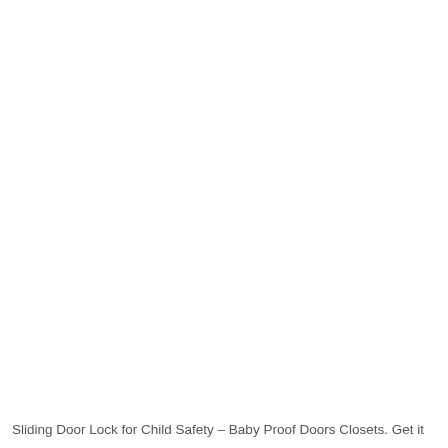Sliding Door Lock for Child Safety – Baby Proof Doors Closets. Get it